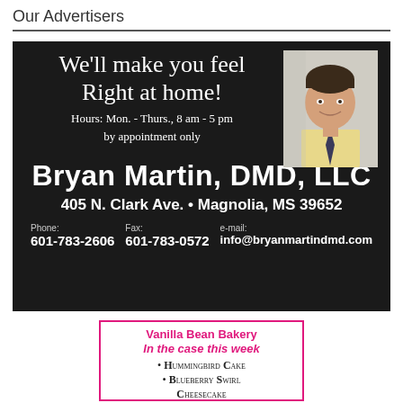Our Advertisers
[Figure (infographic): Bryan Martin DMD LLC advertisement on black background with photo of smiling man in suit. Text: We'll make you feel Right at home! Hours: Mon. - Thurs., 8 am - 5 pm by appointment only. Bryan Martin, DMD, LLC. 405 N. Clark Ave. • Magnolia, MS 39652. Phone: 601-783-2606, Fax: 601-783-0572, e-mail: info@bryanmartindmd.com]
[Figure (infographic): Vanilla Bean Bakery advertisement with pink border. In the case this week: • Hummingbird Cake • Blueberry Swirl Cheesecake]